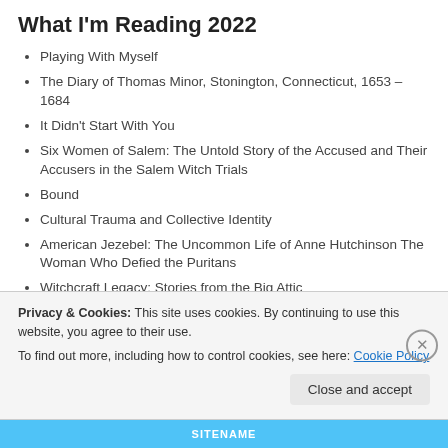What I'm Reading 2022
Playing With Myself
The Diary of Thomas Minor, Stonington, Connecticut, 1653 – 1684
It Didn't Start With You
Six Women of Salem: The Untold Story of the Accused and Their Accusers in the Salem Witch Trials
Bound
Cultural Trauma and Collective Identity
American Jezebel: The Uncommon Life of Anne Hutchinson The Woman Who Defied the Puritans
Witchcraft Legacy: Stories from the Big Attic
The Things They Carried
The Name of War: King Philip's War and the Origins of American
Privacy & Cookies: This site uses cookies. By continuing to use this website, you agree to their use. To find out more, including how to control cookies, see here: Cookie Policy
Close and accept